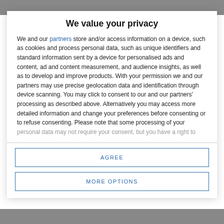[Figure (photo): Blurred background photo at top of page behind modal dialog]
We value your privacy
We and our partners store and/or access information on a device, such as cookies and process personal data, such as unique identifiers and standard information sent by a device for personalised ads and content, ad and content measurement, and audience insights, as well as to develop and improve products. With your permission we and our partners may use precise geolocation data and identification through device scanning. You may click to consent to our and our partners' processing as described above. Alternatively you may access more detailed information and change your preferences before consenting or to refuse consenting. Please note that some processing of your personal data may not require your consent, but you have a right to
AGREE
MORE OPTIONS
[Figure (photo): Blurred background photo at bottom of page behind modal dialog]